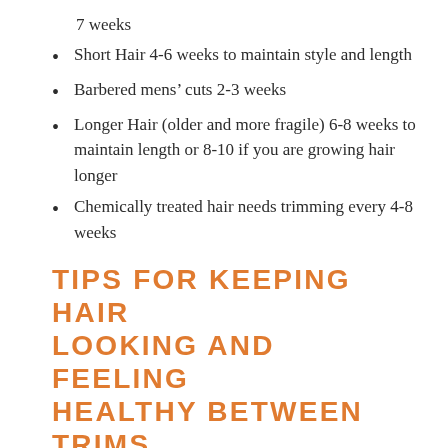7 weeks
Short Hair 4-6 weeks to maintain style and length
Barbered mens’ cuts 2-3 weeks
Longer Hair (older and more fragile) 6-8 weeks to maintain length or 8-10 if you are growing hair longer
Chemically treated hair needs trimming every 4-8 weeks
TIPS FOR KEEPING HAIR LOOKING AND FEELING HEALTHY BETWEEN TRIMS
Moisture will protect your hair from daily damage of sun and heat. Using quality shampoos and